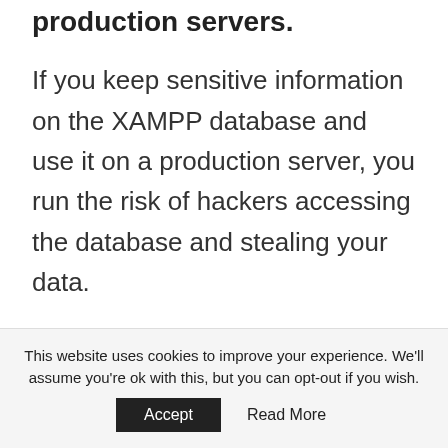production servers.
If you keep sensitive information on the XAMPP database and use it on a production server, you run the risk of hackers accessing the database and stealing your data.
The default FTP program used in XAMPP is ProFTPD and the default live account f…
This website uses cookies to improve your experience. We'll assume you're ok with this, but you can opt-out if you wish.